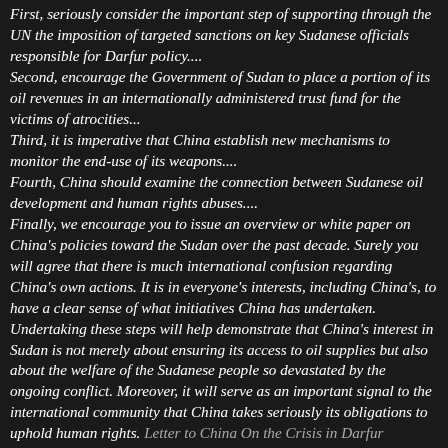First, seriously consider the important step of supporting through the UN the imposition of targeted sanctions on key Sudanese officials responsible for Darfur policy.... Second, encourage the Government of Sudan to place a portion of its oil revenues in an internationally administered trust fund for the victims of atrocities... Third, it is imperative that China establish new mechanisms to monitor the end-use of its weapons.... Fourth, China should examine the connection between Sudanese oil development and human rights abuses.... Finally, we encourage you to issue an overview or white paper on China's policies toward the Sudan over the past decade. Surely you will agree that there is much international confusion regarding China's own actions. It is in everyone's interests, including China's, to have a clear sense of what initiatives China has undertaken. Undertaking these steps will help demonstrate that China's interest in Sudan is not merely about ensuring its access to oil supplies but also about the welfare of the Sudanese people so devastated by the ongoing conflict. Moreover, it will serve as an important signal to the international community that China takes seriously its obligations to uphold human rights.
Letter to China On the Crisis in Darfur